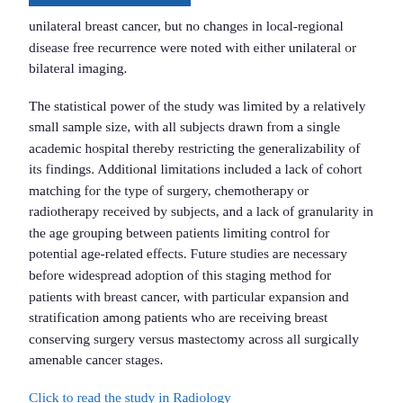unilateral breast cancer, but no changes in local-regional disease free recurrence were noted with either unilateral or bilateral imaging.
The statistical power of the study was limited by a relatively small sample size, with all subjects drawn from a single academic hospital thereby restricting the generalizability of its findings. Additional limitations included a lack of cohort matching for the type of surgery, chemotherapy or radiotherapy received by subjects, and a lack of granularity in the age grouping between patients limiting control for potential age-related effects. Future studies are necessary before widespread adoption of this staging method for patients with breast cancer, with particular expansion and stratification among patients who are receiving breast conserving surgery versus mastectomy across all surgically amenable cancer stages.
Click to read the study in Radiology